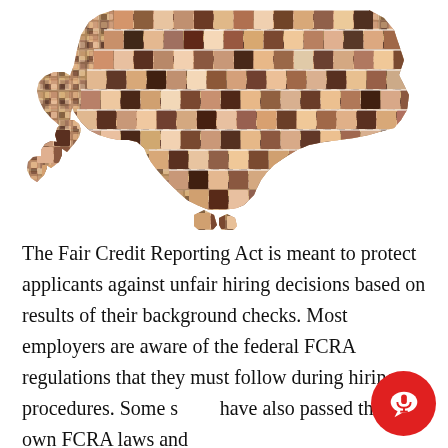[Figure (illustration): A collage of diverse human faces arranged in the shape of the continental United States map, including Alaska and Hawaii insets.]
The Fair Credit Reporting Act is meant to protect applicants against unfair hiring decisions based on results of their background checks. Most employers are aware of the federal FCRA regulations that they must follow during hiring procedures. Some s[tates] have also passed their own FCRA laws and